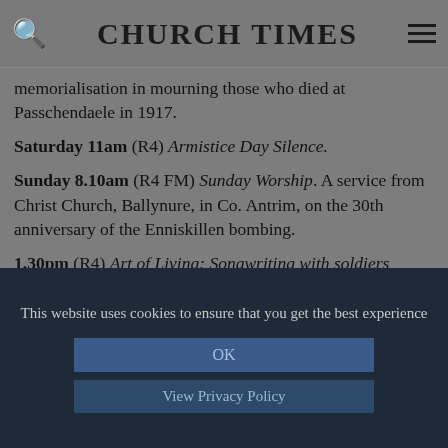CHURCH TIMES
memorialisation in mourning those who died at Passchendaele in 1917.
Saturday 11am (R4) Armistice Day Silence.
Sunday 8.10am (R4 FM) Sunday Worship. A service from Christ Church, Ballynure, in Co. Antrim, on the 30th anniversary of the Enniskillen bombing.
1.30pm (R4) Art of Living: Songwriting with soldiers Trevor Dann reports on a scheme that helps US military veterans to cope with post-traumatic stress disorder.
This website uses cookies to ensure that you get the best experience
OK
View Privacy Policy